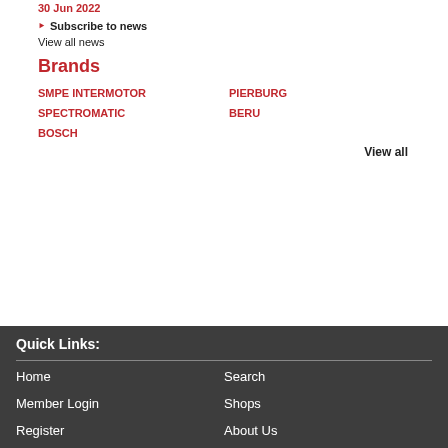30 Jun 2022
Subscribe to news
View all news
Brands
SMPE INTERMOTOR
PIERBURG
SPECTROMATIC
BERU
BOSCH
View all
Quick Links:
Home
Search
Member Login
Shops
Register
About Us